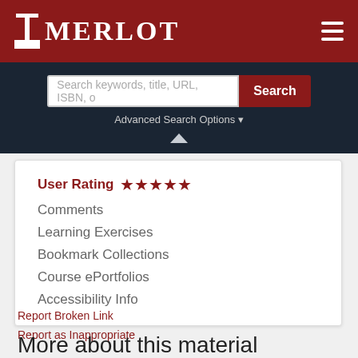MERLOT
Search keywords, title, URL, ISBN, o
Advanced Search Options
User Rating ★★★★★
Comments
Learning Exercises
Bookmark Collections
Course ePortfolios
Accessibility Info
Report Broken Link
Report as Inappropriate
More about this material